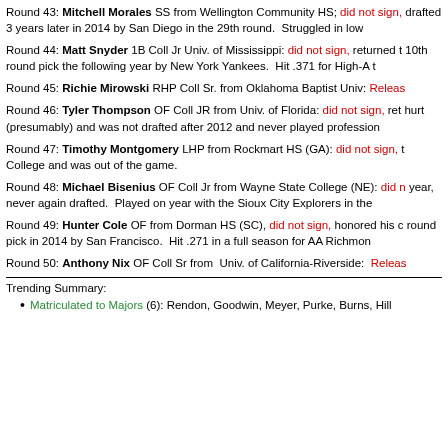Round 43: Mitchell Morales SS from Wellington Community HS; did not sign, drafted 3 years later in 2014 by San Diego in the 29th round. Struggled in low...
Round 44: Matt Snyder 1B Coll Jr Univ. of Mississippi: did not sign, returned t... 10th round pick the following year by New York Yankees. Hit .371 for High-A t...
Round 45: Richie Mirowski RHP Coll Sr. from Oklahoma Baptist Univ: Releas...
Round 46: Tyler Thompson OF Coll JR from Univ. of Florida: did not sign, ret... hurt (presumably) and was not drafted after 2012 and never played profession...
Round 47: Timothy Montgomery LHP from Rockmart HS (GA): did not sign, t... College and was out of the game.
Round 48: Michael Bisenius OF Coll Jr from Wayne State College (NE): did n... year, never again drafted. Played on year with the Sioux City Explorers in the...
Round 49: Hunter Cole OF from Dorman HS (SC), did not sign, honored his c... round pick in 2014 by San Francisco. Hit .271 in a full season for AA Richmon...
Round 50: Anthony Nix OF Coll Sr from Univ. of California-Riverside: Releas...
Trending Summary:
Matriculated to Majors (6): Rendon, Goodwin, Meyer, Purke, Burns, Hill